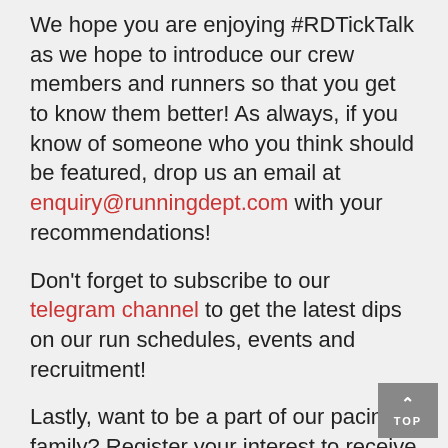We hope you are enjoying #RDTickTalk as we hope to introduce our crew members and runners so that you get to know them better! As always, if you know of someone who you think should be featured, drop us an email at enquiry@runningdept.com with your recommendations!
Don't forget to subscribe to our telegram channel to get the latest dips on our run schedules, events and recruitment!
Lastly, want to be a part of our pacing family? Register your interest to receive updates from us. Click here to register now.